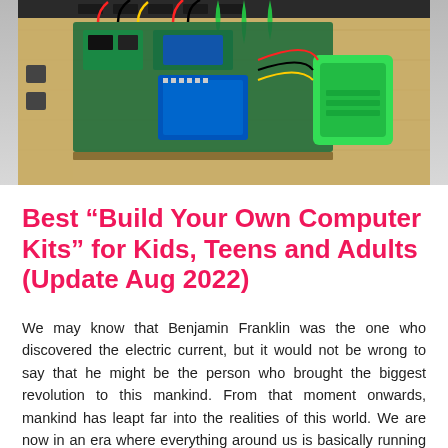[Figure (photo): Photo of an open wooden electronics kit box containing circuit boards, colored wires (red, black, yellow, green), an Arduino-like microcontroller, and a bright green USB/power module, with green cable ties at the top.]
Best “Build Your Own Computer Kits” for Kids, Teens and Adults (Update Aug 2022)
We may know that Benjamin Franklin was the one who discovered the electric current, but it would not be wrong to say that he might be the person who brought the biggest revolution to this mankind. From that moment onwards, mankind has leapt far into the realities of this world. We are now in an era where everything around us is basically running on electric